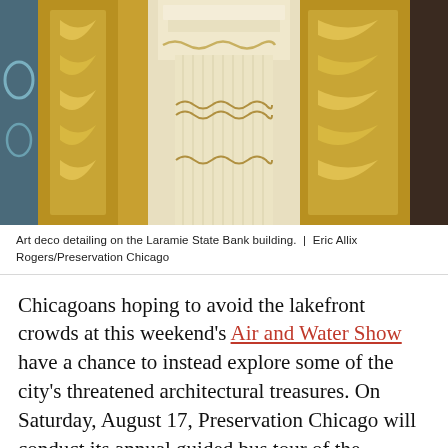[Figure (photo): Art deco detailing on the Laramie State Bank building, showing ornate gold and cream colored architectural elements.]
Art deco detailing on the Laramie State Bank building.  |  Eric Allix Rogers/Preservation Chicago
Chicagoans hoping to avoid the lakefront crowds at this weekend’s Air and Water Show have a chance to instead explore some of the city’s threatened architectural treasures. On Saturday, August 17, Preservation Chicago will conduct its annual guided bus tour of the endangered buildings, parks, and public artworks from this year’s “Chicago 7” list.